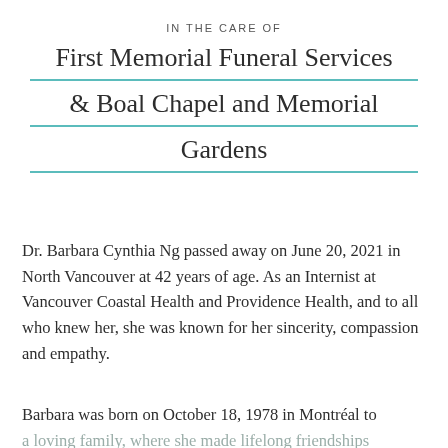IN THE CARE OF
First Memorial Funeral Services & Boal Chapel and Memorial Gardens
Dr. Barbara Cynthia Ng passed away on June 20, 2021 in North Vancouver at 42 years of age. As an Internist at Vancouver Coastal Health and Providence Health, and to all who knew her, she was known for her sincerity, compassion and empathy.
Barbara was born on October 18, 1978 in Montréal to a loving family, where she made lifelong friendships attending Miss Edward & Miss Canada School.